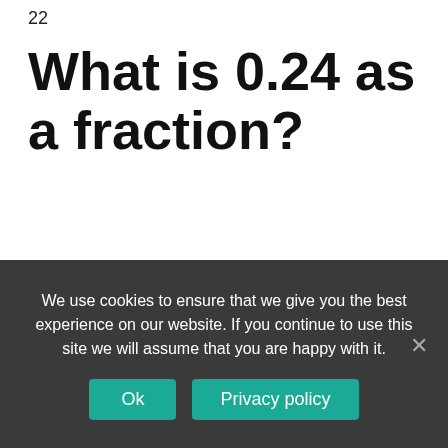22
What is 0.24 as a fraction?
How to Write 0.24 or 24% as a Fraction?
| Decimal | Fraction | Percentage |
| --- | --- | --- |
| 0.24 | 6/25 | 24% |
We use cookies to ensure that we give you the best experience on our website. If you continue to use this site we will assume that you are happy with it.